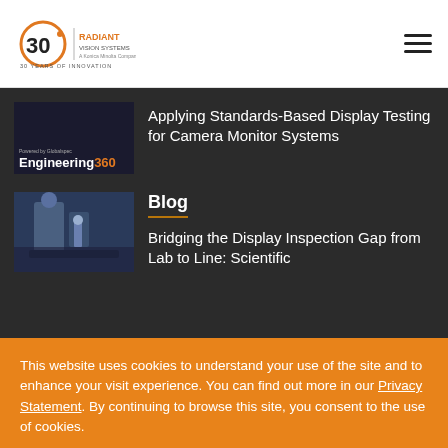[Figure (logo): Radiant Vision Systems 30 Years of Innovation logo with hamburger menu icon]
[Figure (screenshot): Engineering360 thumbnail image showing dark background with Engineering360 text]
Applying Standards-Based Display Testing for Camera Monitor Systems
[Figure (photo): Blue-tinted photo of laboratory equipment/robotic arm setup]
Blog
Bridging the Display Inspection Gap from Lab to Line: Scientific
This website uses cookies to understand your use of the site and to enhance your visit experience. You can find out more in our Privacy Statement. By continuing to browse this site, you consent to the use of cookies.
OK